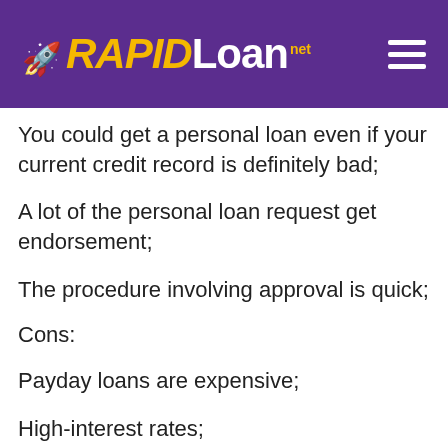RAPIDLoan.net
You could get a personal loan even if your current credit record is definitely bad;
A lot of the personal loan request get endorsement;
The procedure involving approval is quick;
Cons:
Payday loans are expensive;
High-interest rates;
High APR.
Think carefully before a person take an Sanborn payday loan. Result in your own financial matters and even take a financial loan as long as you are sure that you can